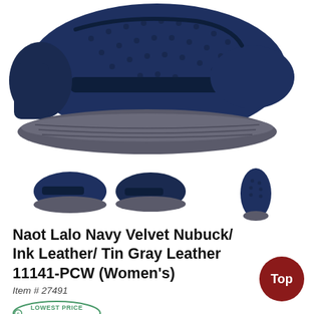[Figure (photo): Main product photo of Naot Lalo navy blue shoe, side view showing perforated upper and gray sole]
[Figure (photo): Three thumbnail images of the shoe: two side-view angles and one top-down view]
Naot Lalo Navy Velvet Nubuck/ Ink Leather/ Tin Gray Leather 11141-PCW (Women's)
Item # 27491
[Figure (logo): Lowest Price Guaranteed badge in green oval border]
$1--.-5